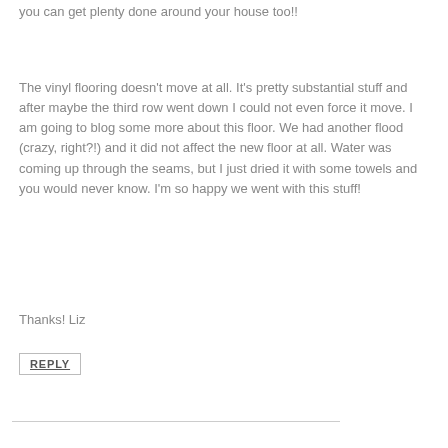you can get plenty done around your house too!!
The vinyl flooring doesn't move at all. It's pretty substantial stuff and after maybe the third row went down I could not even force it move. I am going to blog some more about this floor. We had another flood (crazy, right?!) and it did not affect the new floor at all. Water was coming up through the seams, but I just dried it with some towels and you would never know. I'm so happy we went with this stuff!
Thanks! Liz
REPLY